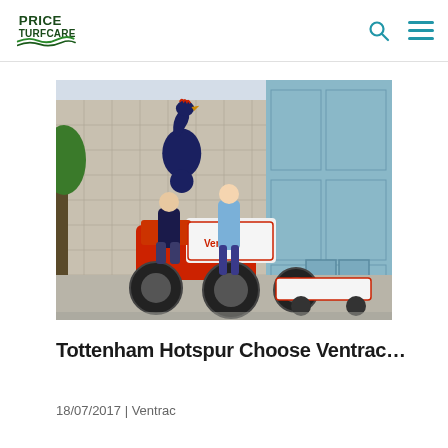Price Turfcare
[Figure (photo): Two men posing with a red and white Ventrac tractor/mower in front of a building with the Tottenham Hotspur cockerel logo emblem on the wall. The building has glass panels on the right side.]
Tottenham Hotspur Choose Ventrac…
18/07/2017 | Ventrac